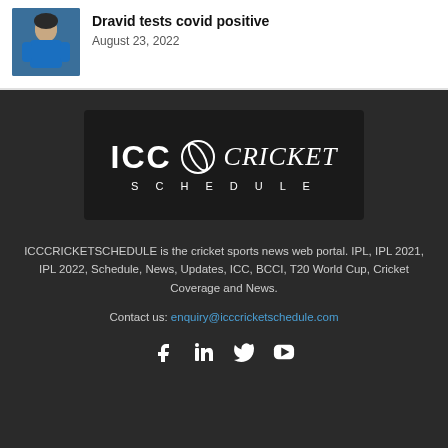[Figure (photo): Thumbnail photo of Rahul Dravid in blue cricket jersey]
Dravid tests covid positive
August 23, 2022
[Figure (logo): ICC Cricket Schedule logo — dark background with ICC text, cricket ball icon, and CRICKET SCHEDULE text]
ICCCRICKETSCHEDULE is the cricket sports news web portal. IPL, IPL 2021, IPL 2022, Schedule, News, Updates, ICC, BCCI, T20 World Cup, Cricket Coverage and News.
Contact us: enquiry@icccricketschedule.com
[Figure (infographic): Social media icons: Facebook, LinkedIn, Twitter, YouTube]